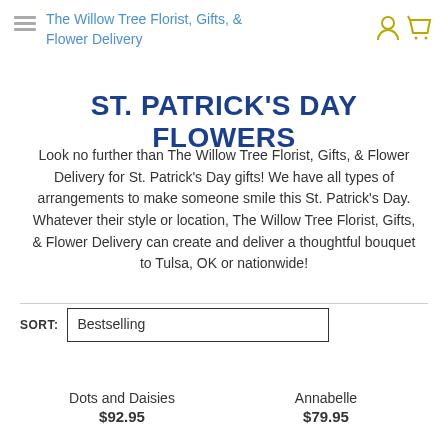The Willow Tree Florist, Gifts, & Flower Delivery
ST. PATRICK'S DAY FLOWERS
Look no further than The Willow Tree Florist, Gifts, & Flower Delivery for St. Patrick's Day gifts! We have all types of arrangements to make someone smile this St. Patrick's Day. Whatever their style or location, The Willow Tree Florist, Gifts, & Flower Delivery can create and deliver a thoughtful bouquet to Tulsa, OK or nationwide!
SORT: Bestselling
Dots and Daisies
$92.95
Annabelle
$79.95